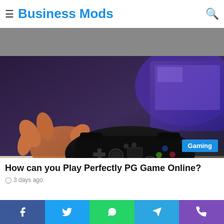Popular
Business Mods
[Figure (photo): Person holding a black PS4 game controller in front of a TV with purple/blue lighting. Photo has a 'Gaming' badge in the bottom right corner.]
How can you Play Perfectly PG Game Online?
3 days ago
[Figure (photo): Small thumbnail image showing a person with headphones, related to a gaming article.]
What is baccarat and Rules to Play Baccarat Game?